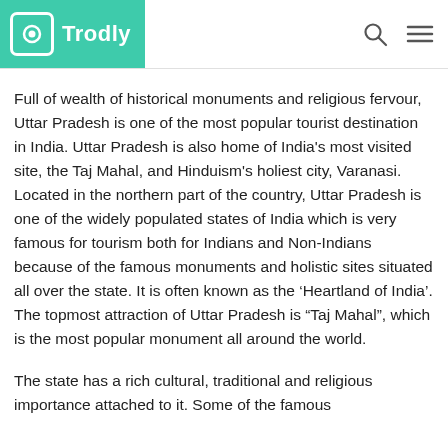Trodly
Full of wealth of historical monuments and religious fervour, Uttar Pradesh is one of the most popular tourist destination in India. Uttar Pradesh is also home of India's most visited site, the Taj Mahal, and Hinduism's holiest city, Varanasi. Located in the northern part of the country, Uttar Pradesh is one of the widely populated states of India which is very famous for tourism both for Indians and Non-Indians because of the famous monuments and holistic sites situated all over the state. It is often known as the ‘Heartland of India’. The topmost attraction of Uttar Pradesh is "Taj Mahal", which is the most popular monument all around the world.
The state has a rich cultural, traditional and religious importance attached to it. Some of the famous